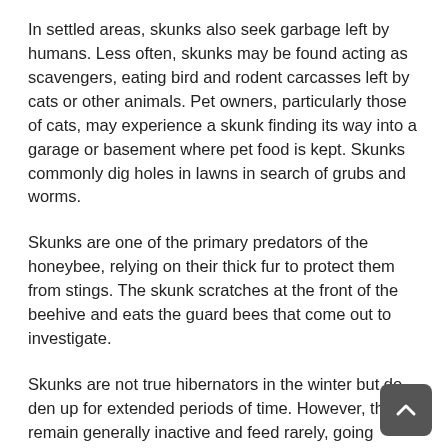In settled areas, skunks also seek garbage left by humans. Less often, skunks may be found acting as scavengers, eating bird and rodent carcasses left by cats or other animals. Pet owners, particularly those of cats, may experience a skunk finding its way into a garage or basement where pet food is kept. Skunks commonly dig holes in lawns in search of grubs and worms.
Skunks are one of the primary predators of the honeybee, relying on their thick fur to protect them from stings. The skunk scratches at the front of the beehive and eats the guard bees that come out to investigate.
Skunks are not true hibernators in the winter but do den up for extended periods of time. However, they remain generally inactive and feed rarely, going through a dormant stage. Over winter, multiple females (as many as 12) huddle together; males often den alone. Often, the same winter den is repeatedly used.
To effectively keep any wildlife from getting into your home, J Pest Management LLC offers different methods in exclusion to